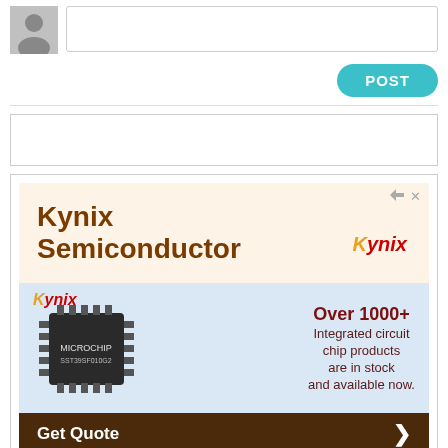[Figure (other): User avatar placeholder (grey silhouette icon) and comment input box with POST button]
[Figure (other): Empty white rectangular box, possibly a comment or content placeholder]
[Figure (other): Advertisement for Kynix Semiconductor showing logo, chip image, and text: Over 1000+ Integrated circuit chip products are in stock and available now. Get Quote >]